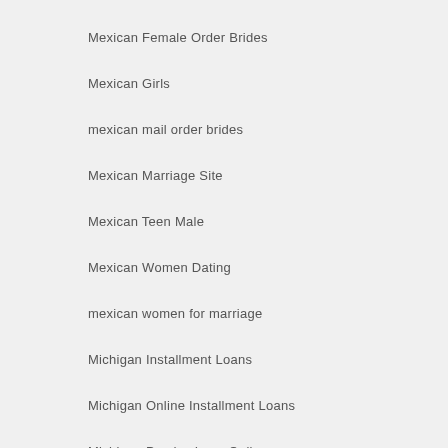Mexican Female Order Brides
Mexican Girls
mexican mail order brides
Mexican Marriage Site
Mexican Teen Male
Mexican Women Dating
mexican women for marriage
Michigan Installment Loans
Michigan Online Installment Loans
Michigan Payday Loan Online
Middle Eastern Bride
Middle Eastern Brides